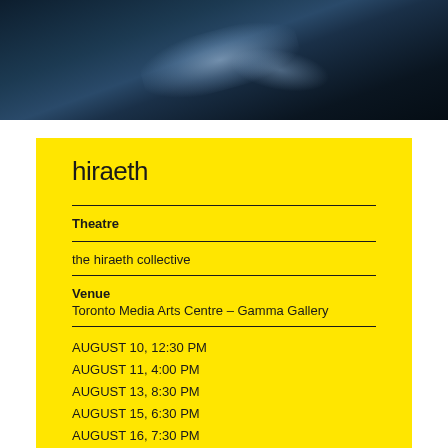[Figure (photo): Dark dramatic photo showing what appears to be a crumpled metallic/reflective material illuminated with blue light against a dark background]
hiraeth
Theatre
the hiraeth collective
Venue
Toronto Media Arts Centre – Gamma Gallery
AUGUST 10, 12:30 PM
AUGUST 11, 4:00 PM
AUGUST 13, 8:30 PM
AUGUST 15, 6:30 PM
AUGUST 16, 7:30 PM
AUGUST 17, 2:30 PM
50 Minutes
Ticket Price